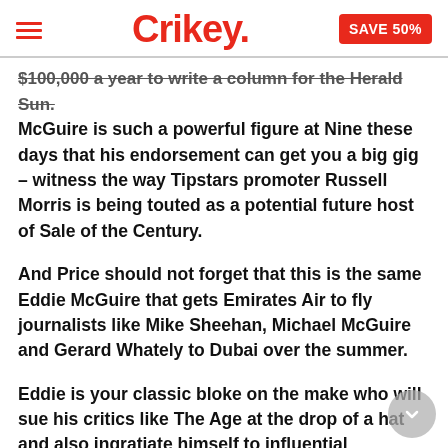Crikey. SAVE 50%
$100,000 a year to write a column for the Herald Sun. McGuire is such a powerful figure at Nine these days that his endorsement can get you a big gig – witness the way Tipstars promoter Russell Morris is being touted as a potential future host of Sale of the Century.
And Price should not forget that this is the same Eddie McGuire that gets Emirates Air to fly journalists like Mike Sheehan, Michael McGuire and Gerard Whately to Dubai over the summer.
Eddie is your classic bloke on the make who will sue his critics like The Age at the drop of a hat and also ingratiate himself to influential journalists expanding